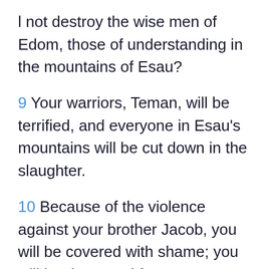l not destroy the wise men of Edom, those of understanding in the mountains of Esau?
9 Your warriors, Teman, will be terrified, and everyone in Esau's mountains will be cut down in the slaughter.
10 Because of the violence against your brother Jacob, you will be covered with shame; you will be destroyed forever.
11 On the day you stood aloof while strangers carried off his wealth and foreigners entered his gates and cast lots for Jerusalem, you were like one of